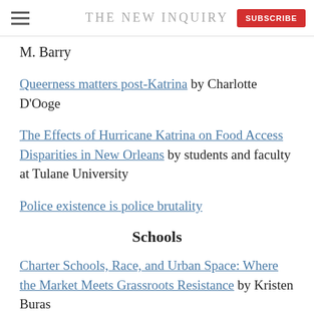THE NEW INQUIRY
M. Barry
Queerness matters post-Katrina by Charlotte D'Ooge
The Effects of Hurricane Katrina on Food Access Disparities in New Orleans by students and faculty at Tulane University
Police existence is police brutality
Schools
Charter Schools, Race, and Urban Space: Where the Market Meets Grassroots Resistance by Kristen Buras